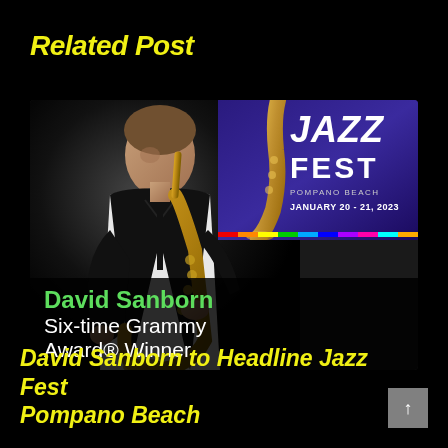Related Post
[Figure (photo): Promotional image for Jazz Fest Pompano Beach featuring a man playing saxophone on the left against a dark background, and a Jazz Fest poster on the right with text 'JAZZ FEST POMPANO BEACH JANUARY 20 - 21, 2023'. The lower portion shows text 'David Sanborn Six-time Grammy Award® Winner' on a dark background.]
David Sanborn to Headline Jazz Fest Pompano Beach